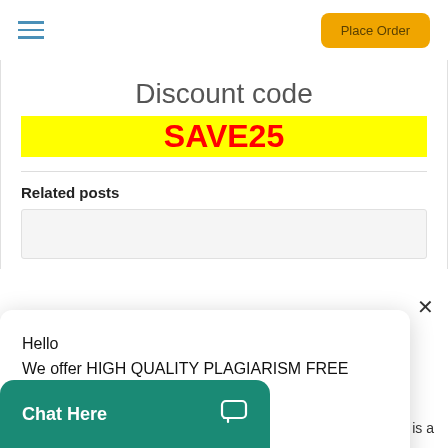Place Order
Discount code
SAVE25
Related posts
Hello
We offer HIGH QUALITY PLAGIARISM FREE essays & termpapers.

Chat...
Chat Here
R 490 is a